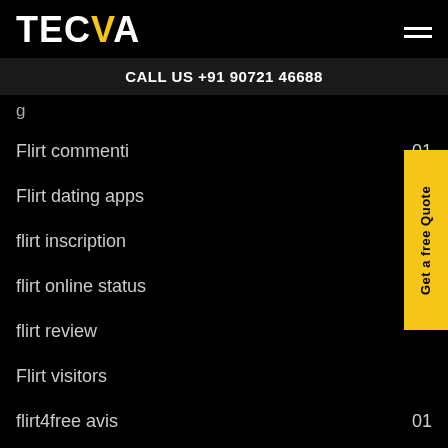TECVA
CALL US +91 90721 46688
g
Flirt commenti   01
Flirt dating apps   01
flirt inscription
flirt online status
flirt review
Flirt visitors
flirt4free avis   01
flirt4free cs review   01
flirt4free kosten   01
Get a free Quote